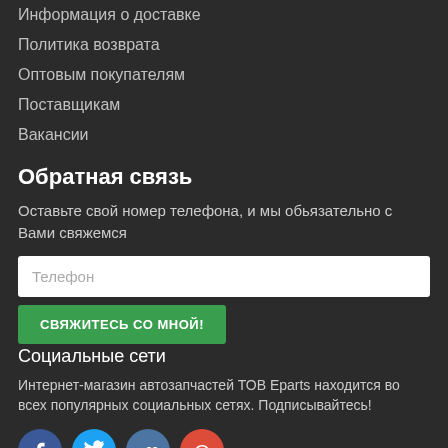Информация о доставке
Политика возврата
Оптовым покупателям
Поставщикам
Вакансии
Обратная связь
Оставьте свой номер телефона, и мы обьязательно с Вами свяжемся
Телефон
СВЯЖИТЕСЬ СО МНОЙ!
Социальные сети
Интернет-магазин автозапчастей ТОВ Eparts находится во всех популярных социальных сетях. Подписывайтесь!
[Figure (illustration): Social media icons: Facebook (blue), Twitter (light blue), VKontakte (steel blue), Google+ (red)]